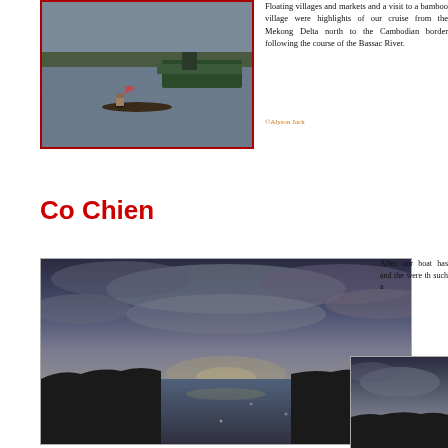[Figure (photo): A person paddling a small wooden boat on a wide river with a large green boat in the background and forested shoreline in the distance]
Floating villages and markets and a visit to a bamboo village were highlights of our cruise from the Mekong Delta north to the Cambodian border following the course of the Bassac River.
©Alyson Jack
Co Chien
[Figure (photo): Wide panoramic sunset or dusk view over the Co Chien River with dramatic cloudy sky reflected in calm water and silhouetted tree line on both banks]
After our boat has and the were th such a
[Figure (photo): Partial view of another river scene at dusk or dawn, partially cropped at right edge of page]